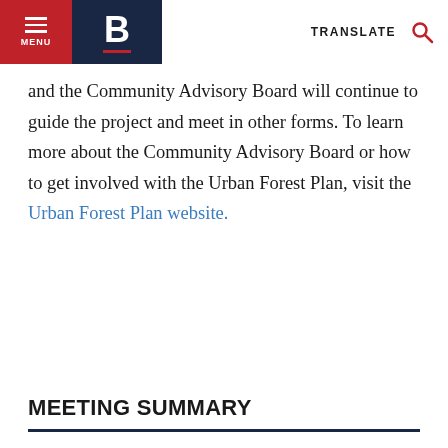MENU | B | TRANSLATE
and the Community Advisory Board will continue to guide the project and meet in other forms. To learn more about the Community Advisory Board or how to get involved with the Urban Forest Plan, visit the Urban Forest Plan website.
MEETING SUMMARY